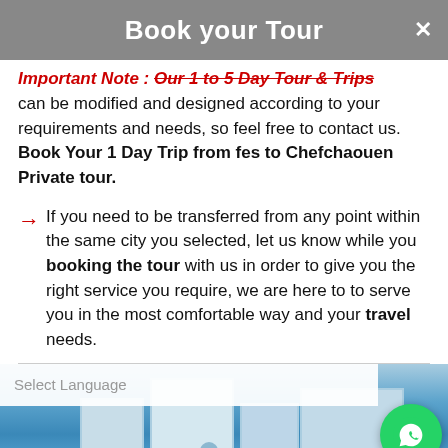Book your Tour
Important Note: Our 1 to 5 Day Tour & Trips can be modified and designed according to your requirements and needs, so feel free to contact us. Book Your 1 Day Trip from fes to Chefchaouen Private tour.
→ If you need to be transferred from any point within the same city you selected, let us know while you booking the tour with us in order to give you the right service you require, we are here to to serve you in the most comfortable way and your travel needs.
Select Language
[Figure (photo): Photo of blue buildings in Chefchaouen with a WhatsApp contact button overlay]